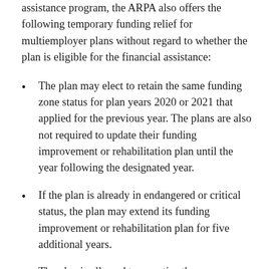assistance program, the ARPA also offers the following temporary funding relief for multiemployer plans without regard to whether the plan is eligible for the financial assistance:
The plan may elect to retain the same funding zone status for plan years 2020 or 2021 that applied for the previous year. The plans are also not required to update their funding improvement or rehabilitation plan until the year following the designated year.
If the plan is already in endangered or critical status, the plan may extend its funding improvement or rehabilitation plan for five additional years.
The plan is allowed to amortize the